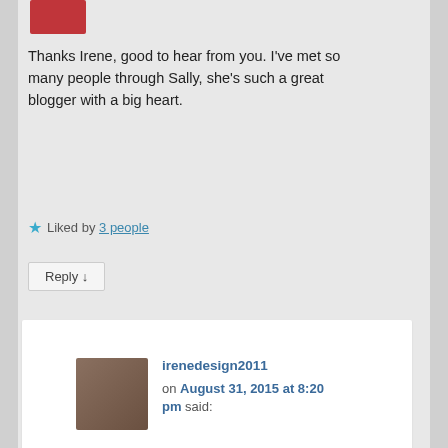[Figure (photo): Small avatar image at top left, partially visible, red background]
Thanks Irene, good to hear from you. I've met so many people through Sally, she's such a great blogger with a big heart.
Liked by 3 people
Reply ↓
[Figure (photo): Profile photo of irenedesign2011, a woman with dark hair]
irenedesign2011
on August 31, 2015 at 8:20 pm said:
I agree Judith 🙂
Liked by 2 people
[Figure (photo): Small avatar photo of judithbarrow1, partially visible at bottom]
judithbarrow1